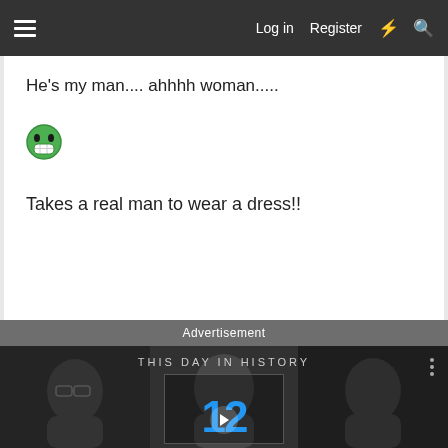≡  Log in  Register  ⚡  🔍
He's my man.... ahhhh woman.....
[Figure (illustration): Green grinning emoji face]
Takes a real man to wear a dress!!
Advertisement
[Figure (screenshot): Video thumbnail: THIS DAY IN HISTORY with faces in black and white background, large blue number 12, play button, three-dot menu icon]
Report Ad
[Figure (screenshot): Banner advertisement: Hold and Move with blue figures icons, info and close buttons]